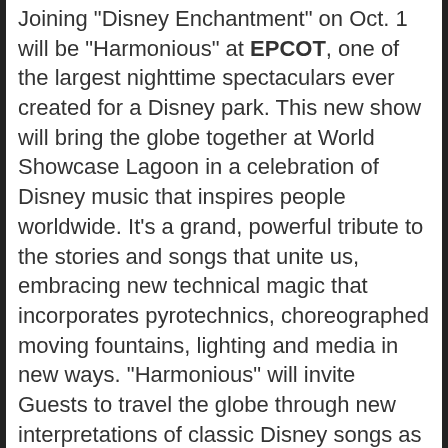Joining "Disney Enchantment" on Oct. 1 will be "Harmonious" at EPCOT, one of the largest nighttime spectaculars ever created for a Disney park. This new show will bring the globe together at World Showcase Lagoon in a celebration of Disney music that inspires people worldwide. It's a grand, powerful tribute to the stories and songs that unite us, embracing new technical magic that incorporates pyrotechnics, choreographed moving fountains, lighting and media in new ways. "Harmonious" will invite Guests to travel the globe through new interpretations of classic Disney songs as you've never heard them before, reimagined in more than a dozen languages by a diverse group of 240 artists from around the world.